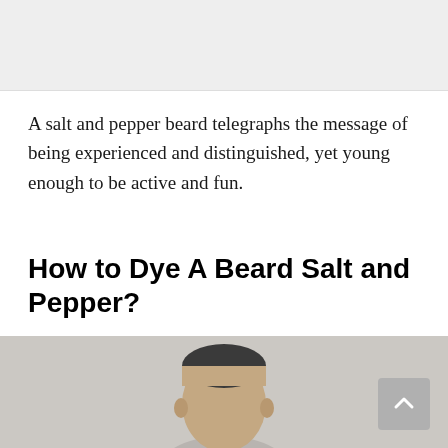[Figure (photo): A partial photo at the top of the page, showing a light grey background (cropped top portion of an image).]
A salt and pepper beard telegraphs the message of being experienced and distinguished, yet young enough to be active and fun.
How to Dye A Beard Salt and Pepper?
[Figure (photo): A photo of a man's head/face partially visible at the bottom of the page against a light grey background, with a scroll-to-top button in the bottom-right corner.]